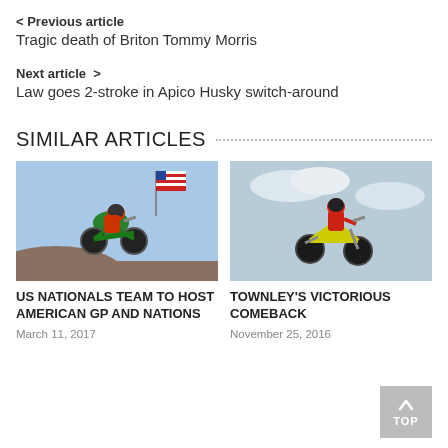< Previous article
Tragic death of Briton Tommy Morris
Next article >
Law goes 2-stroke in Apico Husky switch-around
SIMILAR ARTICLES
[Figure (photo): Motocross rider on green bike jumping in air with American flag in background]
US NATIONALS TEAM TO HOST AMERICAN GP AND NATIONS
March 11, 2017
[Figure (photo): Motocross rider on yellow Suzuki bike jumping in air against sky background]
TOWNLEY'S VICTORIOUS COMEBACK
November 25, 2016